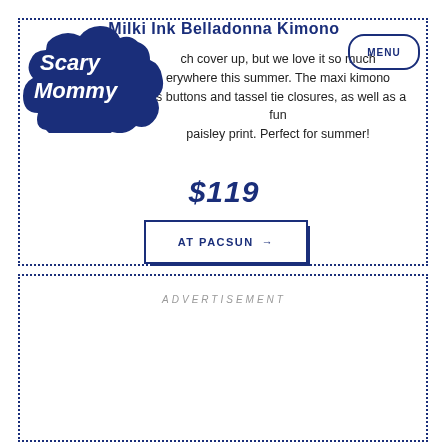Milki Ink Belladonna Kimono
[Figure (logo): Scary Mommy logo - white text on dark blue cloud/speech bubble shape]
ch cover up, but we love it so much erywhere this summer. The maxi kimono ss buttons and tassel tie closures, as well as a fun paisley print. Perfect for summer!
$119
AT PACSUN →
ADVERTISEMENT